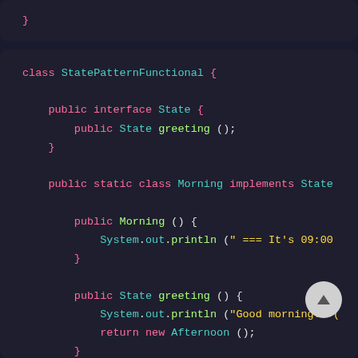[Figure (screenshot): Dark-themed code editor screenshot showing Java code for StatePatternFunctional class with State interface and Morning inner class implementing State, including greeting method returning new Afternoon()]